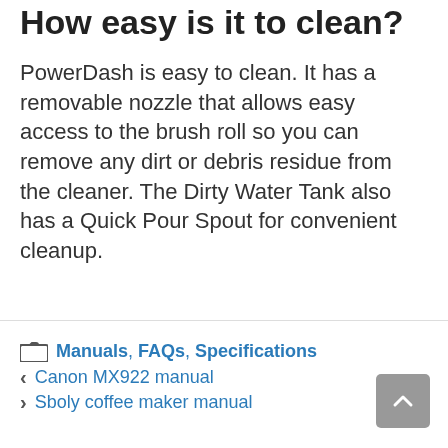How easy is it to clean?
PowerDash is easy to clean. It has a removable nozzle that allows easy access to the brush roll so you can remove any dirt or debris residue from the cleaner. The Dirty Water Tank also has a Quick Pour Spout for convenient cleanup.
Manuals, FAQs, Specifications
Canon MX922 manual
Sboly coffee maker manual